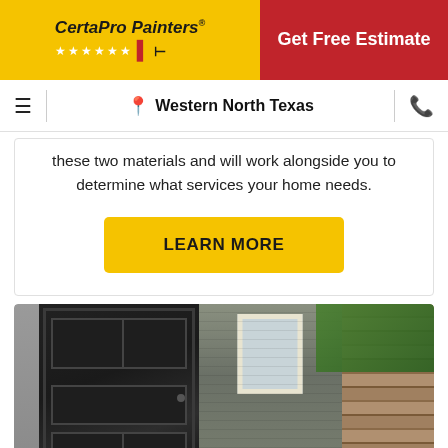CertaPro Painters® | Get Free Estimate
Western North Texas
these two materials and will work alongside you to determine what services your home needs.
LEARN MORE
[Figure (photo): Exterior of a home showing a dark painted front door, gray shingle siding, a white-trimmed window, and a stone column with green trees in the background.]